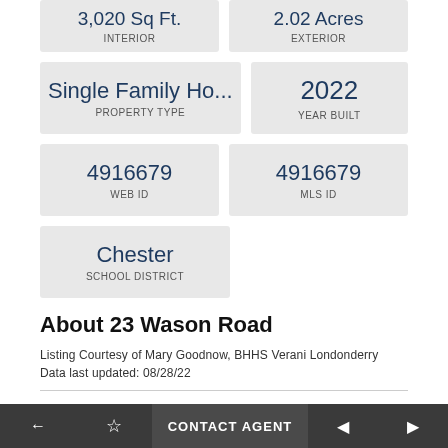3,020 Sq Ft. — INTERIOR
2.02 Acres — EXTERIOR
Single Family Ho... — PROPERTY TYPE
2022 — YEAR BUILT
4916679 — WEB ID
4916679 — MLS ID
Chester — SCHOOL DISTRICT
About 23 Wason Road
Listing Courtesy of Mary Goodnow, BHHS Verani Londonderry
Data last updated: 08/28/22
CONTACT AGENT